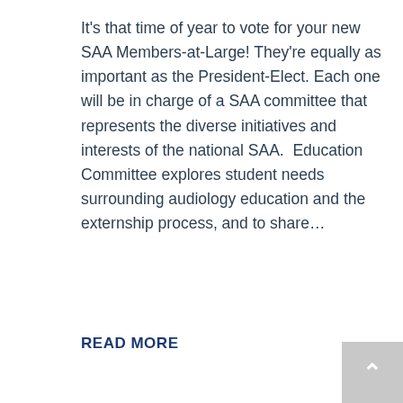It's that time of year to vote for your new SAA Members-at-Large! They're equally as important as the President-Elect. Each one will be in charge of a SAA committee that represents the diverse initiatives and interests of the national SAA.  Education Committee explores student needs surrounding audiology education and the externship process, and to share…
READ MORE